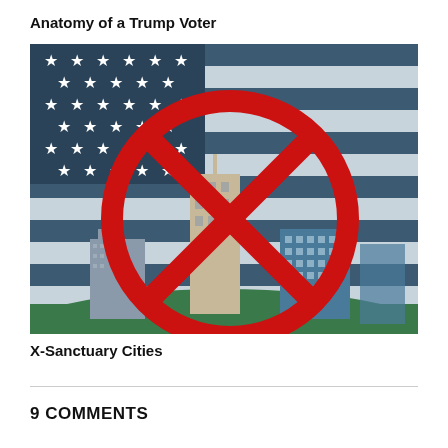Anatomy of a Trump Voter
[Figure (illustration): Illustration of an American flag (dark navy blue and white stripes) with a city skyline silhouette in the foreground, overlaid by a large red prohibition/no-entry circle-X symbol.]
X-Sanctuary Cities
9 COMMENTS